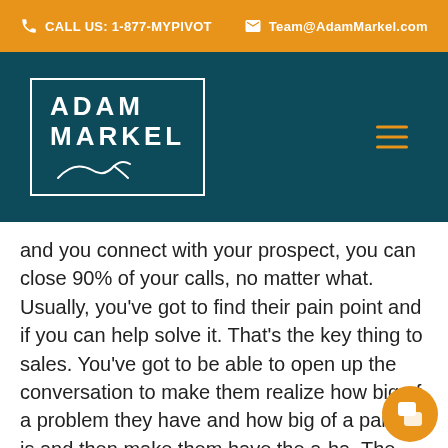CALL US: 1-877-MYPIVOT   Team@AdamMarkel.com
[Figure (logo): Adam Markel logo with white border box, name in white capital letters, and cursive signature below, on dark teal background with hamburger menu icon]
and you connect with your prospect, you can close 90% of your calls, no matter what. Usually, you've got to find their pain point and if you can help solve it. That's the key thing to sales. You've got to be able to open up the conversation to make them realize how big of a problem they have and how big of a pain it is and then make them have the a-ha. The thing I get sales pitches all the time is that they tell me what they're offering and they're not trying to learn about you